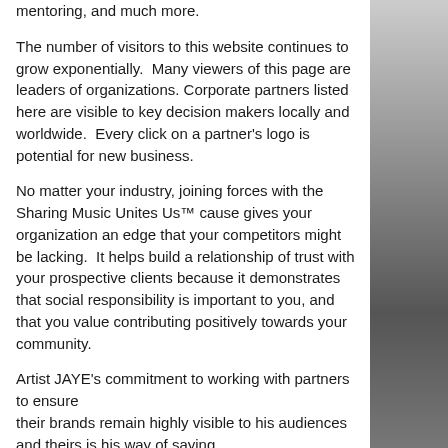mentoring, and much more.
The number of visitors to this website continues to grow exponentially.  Many viewers of this page are leaders of organizations. Corporate partners listed here are visible to key decision makers locally and worldwide.  Every click on a partner's logo is potential for new business.
No matter your industry, joining forces with the Sharing Music Unites Us™ cause gives your organization an edge that your competitors might be lacking.  It helps build a relationship of trust with your prospective clients because it demonstrates that social responsibility is important to you, and that you value contributing positively towards your community.
Artist JAYE's commitment to working with partners to ensure their brands remain highly visible to his audiences and theirs is his way of saying